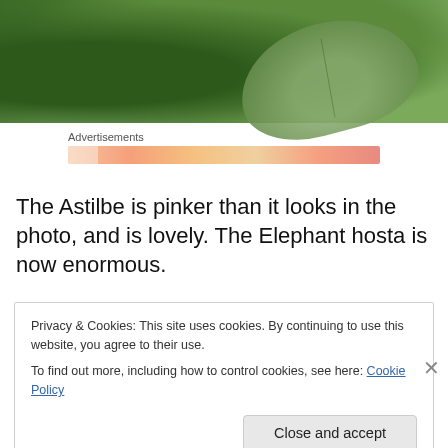[Figure (photo): Close-up photo of green garden plants including hostas and ferns with large textured leaves]
Advertisements
[Figure (other): Orange/salmon colored advertisement loading bar]
The Astilbe is pinker than it looks in the photo, and is lovely. The Elephant hosta is now enormous.
Privacy & Cookies: This site uses cookies. By continuing to use this website, you agree to their use.
To find out more, including how to control cookies, see here: Cookie Policy

Close and accept